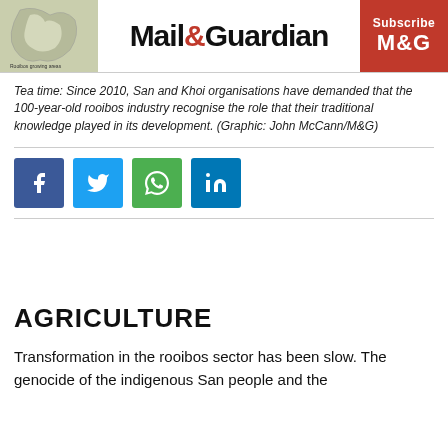[Figure (screenshot): Mail & Guardian newspaper header with map of rooibos growing areas, logo, and Subscribe button]
Tea time: Since 2010, San and Khoi organisations have demanded that the 100-year-old rooibos industry recognise the role that their traditional knowledge played in its development. (Graphic: John McCann/M&G)
[Figure (other): Social media sharing buttons: Facebook, Twitter, WhatsApp, LinkedIn]
AGRICULTURE
Transformation in the rooibos sector has been slow. The genocide of the indigenous San people and the